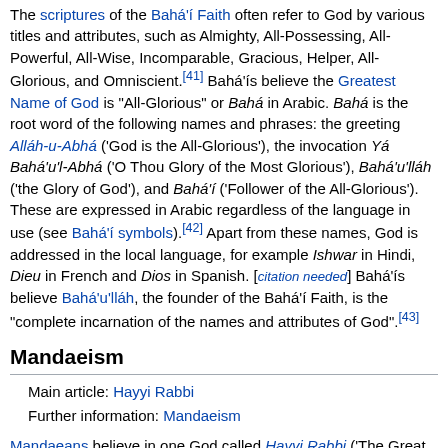The scriptures of the Bahá'í Faith often refer to God by various titles and attributes, such as Almighty, All-Possessing, All-Powerful, All-Wise, Incomparable, Gracious, Helper, All-Glorious, and Omniscient.[41] Bahá'ís believe the Greatest Name of God is "All-Glorious" or Bahá in Arabic. Bahá is the root word of the following names and phrases: the greeting Alláh-u-Abhá ('God is the All-Glorious'), the invocation Yá Bahá'u'l-Abhá ('O Thou Glory of the Most Glorious'), Bahá'u'lláh ('the Glory of God'), and Bahá'í ('Follower of the All-Glorious'). These are expressed in Arabic regardless of the language in use (see Bahá'í symbols).[42] Apart from these names, God is addressed in the local language, for example Ishwar in Hindi, Dieu in French and Dios in Spanish. [citation needed] Bahá'ís believe Bahá'u'lláh, the founder of the Bahá'í Faith, is the "complete incarnation of the names and attributes of God".[43]
Mandaeism
Main article: Hayyi Rabbi
Further information: Mandaeism
Mandaeans believe in one God called Hayyi Rabbi ('The Great Life' or 'The Great Living God').[44] Other names for God used